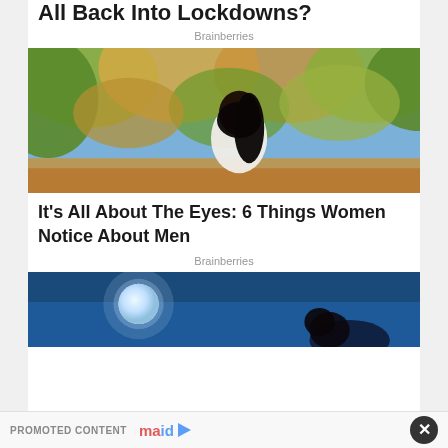All Back Into Lockdowns?
Brainberries
[Figure (photo): Woman with long dark hair in white top standing in nature among trees with autumn foliage and blue sky]
It's All About The Eyes: 6 Things Women Notice About Men
Brainberries
[Figure (photo): Person under moonlit night sky with large full moon]
PROMOTED CONTENT maid